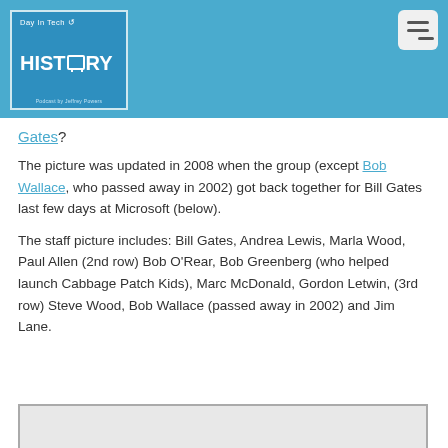[Figure (logo): Day in Tech History podcast logo — blue square with white border, 'Day In Tech' text above large 'HISTORY' with monitor icon replacing the 'O', hosted by Jeffrey Powers]
Gates?
The picture was updated in 2008 when the group (except Bob Wallace, who passed away in 2002) got back together for Bill Gates last few days at Microsoft (below).
The staff picture includes: Bill Gates, Andrea Lewis, Marla Wood, Paul Allen (2nd row) Bob O'Rear, Bob Greenberg (who helped launch Cabbage Patch Kids), Marc McDonald, Gordon Letwin, (3rd row) Steve Wood, Bob Wallace (passed away in 2002) and Jim Lane.
[Figure (photo): Partial view of a group staff photo at the bottom of the page, light gray background visible]